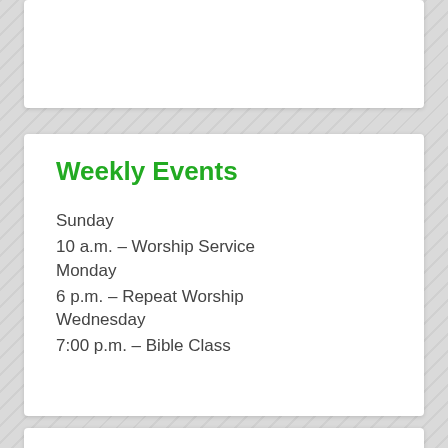Weekly Events
Sunday
10 a.m. – Worship Service
Monday
6 p.m. – Repeat Worship
Wednesday
7:00 p.m. – Bible Class
Contact Information